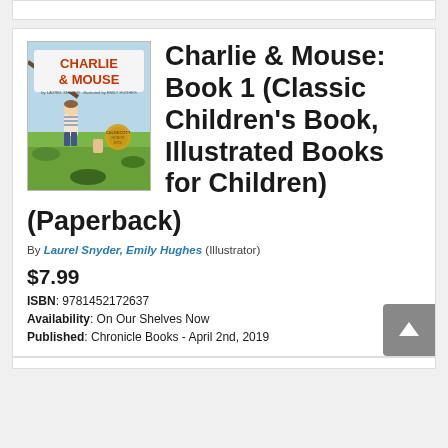[Figure (illustration): Book cover for Charlie & Mouse showing two children playing, with a Caldecott Medal seal. Title text in red/orange says CHARLIE & MOUSE.]
Charlie & Mouse: Book 1 (Classic Children's Book, Illustrated Books for Children) (Paperback)
By Laurel Snyder, Emily Hughes (Illustrator)
$7.99
ISBN: 9781452172637
Availability: On Our Shelves Now
Published: Chronicle Books - April 2nd, 2019